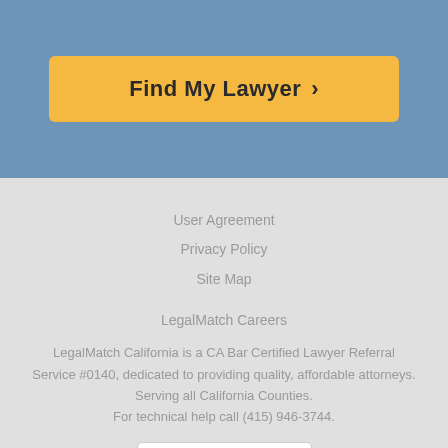[Figure (other): Orange 'Find My Lawyer >' button on blue background]
User Agreement
Privacy Policy
Site Map
LegalMatch Careers
LegalMatch California is a CA Bar Certified Lawyer Referral Service #0140, dedicated to providing quality, affordable attorneys. Serving all California Counties. For technical help call (415) 946-3744.
[Figure (logo): TRUSTe Certified Privacy Powered by TrustArc badge]
[Figure (logo): BBB Accredited badge]